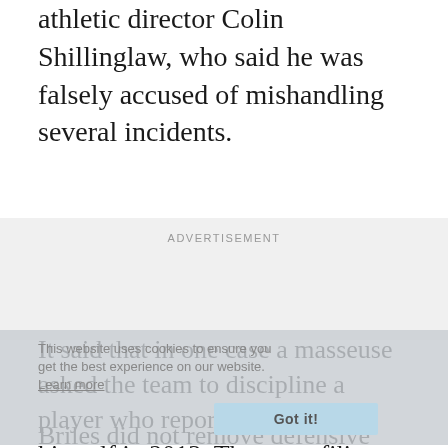athletic director Colin Shillinglaw, who said he was falsely accused of mishandling several incidents.
[Figure (other): Advertisement placeholder block with grey background and 'ADVERTISEMENT' label]
It said that in one case a masseuse asked the team to discipline a player who reportedly exposed himself in 2013. The court filing said Briles texted an assistant coach: “What kind of discipline. … She a stripper?”
Briles did not remove defensive lineman Tevin Elliott from the team or notify university